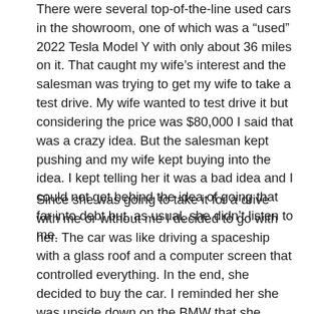There were several top-of-the-line used cars in the showroom, one of which was a “used” 2022 Tesla Model Y with only about 36 miles on it. That caught my wife’s interest and the salesman was trying to get my wife to take a test drive. My wife wanted to test drive it but considering the price was $80,000 I said that was a crazy idea. But the salesman kept pushing and my wife kept buying into the idea. I kept telling her it was a bad idea and I could not get behind the idea of going that far into debt but, as usual, she didn’t listen to me.
Since she was going to take it for a drive with me or without me I decided to go with her. The car was like driving a spaceship with a glass roof and a computer screen that controlled everything. In the end, she decided to buy the car. I reminded her she was upside down on the BMW that she promised last year would be her last car in a long time after she traded her third Mustang in five years for it. So we spent two and a half hours at the Nissan dealer that evening and